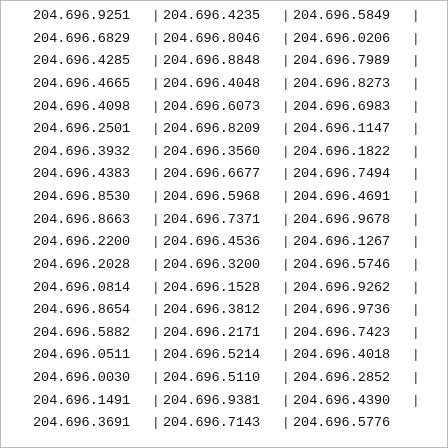| 204.696.9251 | | | 204.696.4235 | | | 204.696.5849 | | |
| 204.696.6829 | | | 204.696.8046 | | | 204.696.0206 | | |
| 204.696.4285 | | | 204.696.8848 | | | 204.696.7989 | | |
| 204.696.4665 | | | 204.696.4048 | | | 204.696.8273 | | |
| 204.696.4098 | | | 204.696.6073 | | | 204.696.6983 | | |
| 204.696.2501 | | | 204.696.8209 | | | 204.696.1147 | | |
| 204.696.3932 | | | 204.696.3560 | | | 204.696.1822 | | |
| 204.696.4383 | | | 204.696.6677 | | | 204.696.7494 | | |
| 204.696.8530 | | | 204.696.5968 | | | 204.696.4691 | | |
| 204.696.8663 | | | 204.696.7371 | | | 204.696.9678 | | |
| 204.696.2200 | | | 204.696.4536 | | | 204.696.1267 | | |
| 204.696.2028 | | | 204.696.3200 | | | 204.696.5746 | | |
| 204.696.0814 | | | 204.696.1528 | | | 204.696.9262 | | |
| 204.696.8654 | | | 204.696.3812 | | | 204.696.9736 | | |
| 204.696.5882 | | | 204.696.2171 | | | 204.696.7423 | | |
| 204.696.0511 | | | 204.696.5214 | | | 204.696.4018 | | |
| 204.696.0030 | | | 204.696.5110 | | | 204.696.2852 | | |
| 204.696.1491 | | | 204.696.9381 | | | 204.696.4390 | | |
| 204.696.3691 | | | 204.696.7143 | | | 204.696.5776 |  |